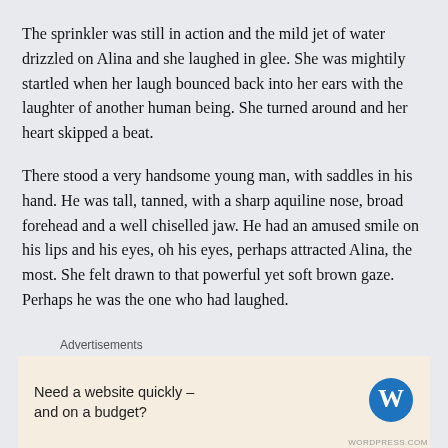The sprinkler was still in action and the mild jet of water drizzled on Alina and she laughed in glee. She was mightily startled when her laugh bounced back into her ears with the laughter of another human being. She turned around and her heart skipped a beat.
There stood a very handsome young man, with saddles in his hand. He was tall, tanned, with a sharp aquiline nose, broad forehead and a well chiselled jaw. He had an amused smile on his lips and his eyes, oh his eyes, perhaps attracted Alina, the most. She felt drawn to that powerful yet soft brown gaze. Perhaps he was the one who had laughed.
Advertisements
[Figure (other): WordPress advertisement banner: 'Need a website quickly – and on a budget?' with WordPress logo]